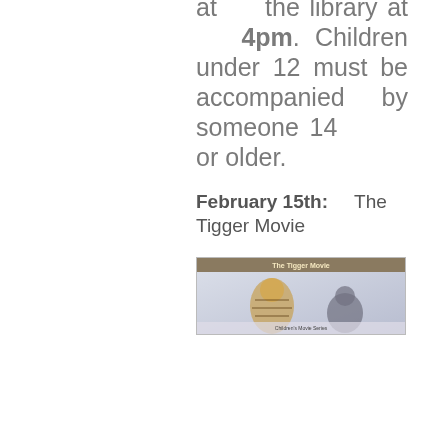at the library at 4pm. Children under 12 must be accompanied by someone 14 or older.
February 15th: The Tigger Movie
[Figure (photo): Thumbnail image for The Tigger Movie]